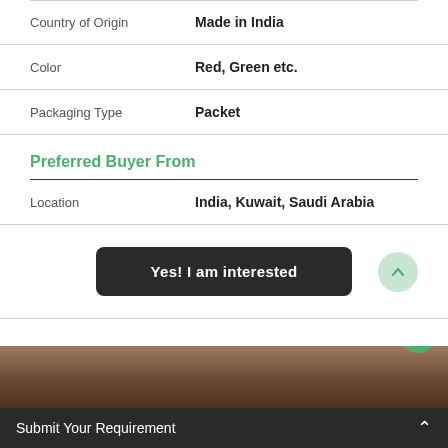| Country of Origin | Made in India |
| Color | Red, Green etc. |
| Packaging Type | Packet |
Preferred Buyer From
| Location | India, Kuwait, Saudi Arabia |
Yes! I am interested
[Figure (photo): Partial photo of a wooden or bark surface visible at the bottom of the page]
Submit Your Requirement